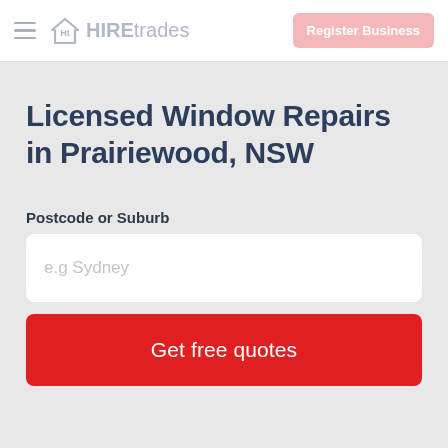HIREtrades — Register Business
Licensed Window Repairs in Prairiewood, NSW
Postcode or Suburb
e.g Sydney
Get free quotes